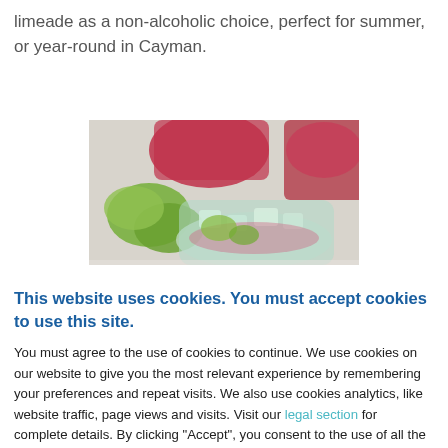limeade as a non-alcoholic choice, perfect for summer, or year-round in Cayman.
[Figure (photo): Close-up photo of drinks with lime wedges and red/pink beverages in glasses]
This website uses cookies. You must accept cookies to use this site.
You must agree to the use of cookies to continue. We use cookies on our website to give you the most relevant experience by remembering your preferences and repeat visits. We also use cookies analytics, like website traffic, page views and visits. Visit our legal section for complete details. By clicking "Accept", you consent to the use of all the cookies.
Accept